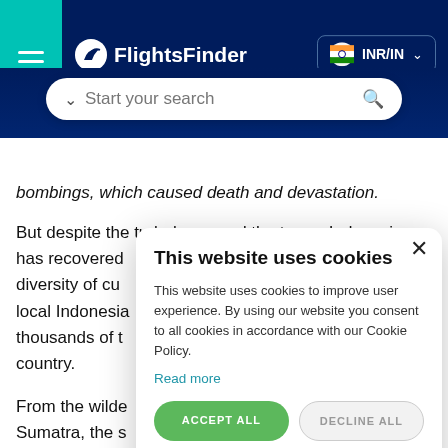FlightsFinder — INR/IN
bombings, which caused death and devastation.
But despite the turbulence and the terror, Indonesia has recovered diversity of cu local Indonesia thousands of t country.
From the wilde Sumatra, the s blowing histori really has got it all.
This website uses cookies
This website uses cookies to improve user experience. By using our website you consent to all cookies in accordance with our Cookie Policy.
Read more
ACCEPT ALL  DECLINE ALL
SHOW DETAILS